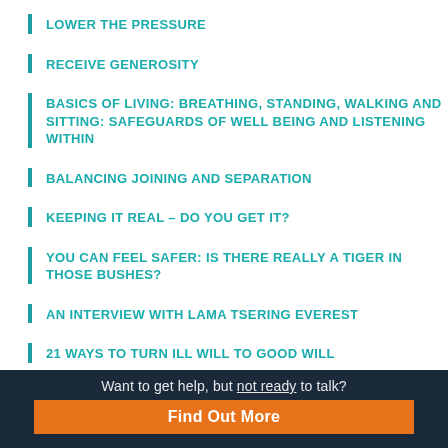LOWER THE PRESSURE
RECEIVE GENEROSITY
BASICS OF LIVING: BREATHING, STANDING, WALKING AND SITTING: SAFEGUARDS OF WELL BEING AND LISTENING WITHIN
BALANCING JOINING AND SEPARATION
KEEPING IT REAL – DO YOU GET IT?
YOU CAN FEEL SAFER: IS THERE REALLY A TIGER IN THOSE BUSHES?
AN INTERVIEW WITH LAMA TSERING EVEREST
21 WAYS TO TURN ILL WILL TO GOOD WILL
GROKKED: BEING SEEN, HEARD AND KNOWN FOR WHO YOU ARE
Want to get help, but not ready to talk? Find Out More